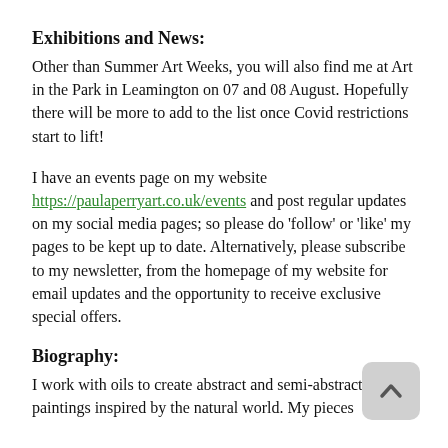Exhibitions and News:
Other than Summer Art Weeks, you will also find me at Art in the Park in Leamington on 07 and 08 August. Hopefully there will be more to add to the list once Covid restrictions start to lift!
I have an events page on my website https://paulaperryart.co.uk/events and post regular updates on my social media pages; so please do 'follow' or 'like' my pages to be kept up to date. Alternatively, please subscribe to my newsletter, from the homepage of my website for email updates and the opportunity to receive exclusive special offers.
Biography:
I work with oils to create abstract and semi-abstract paintings inspired by the natural world. My pieces